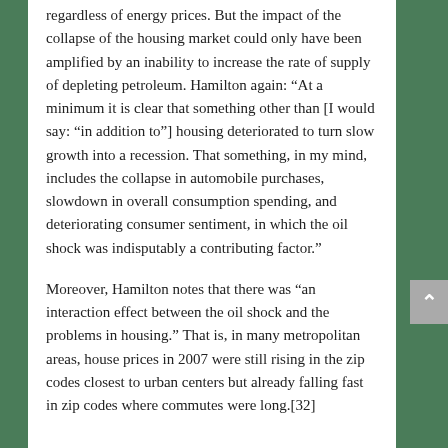regardless of energy prices. But the impact of the collapse of the housing market could only have been amplified by an inability to increase the rate of supply of depleting petroleum. Hamilton again: “At a minimum it is clear that something other than [I would say: “in addition to”] housing deteriorated to turn slow growth into a recession. That something, in my mind, includes the collapse in automobile purchases, slowdown in overall consumption spending, and deteriorating consumer sentiment, in which the oil shock was indisputably a contributing factor.”
Moreover, Hamilton notes that there was “an interaction effect between the oil shock and the problems in housing.” That is, in many metropolitan areas, house prices in 2007 were still rising in the zip codes closest to urban centers but already falling fast in zip codes where commutes were long.[32]